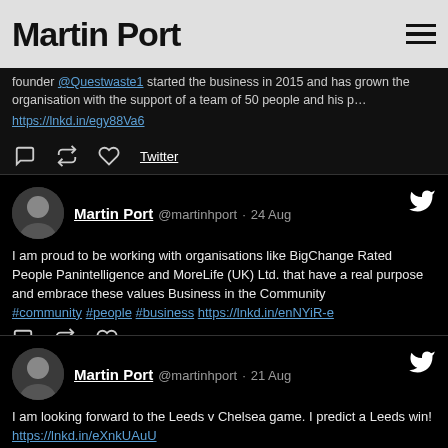Martin Port
founder @Questwaste1 started the business in 2015 and has grown the organisation with the support of a team of 50 people and his p… https://lnkd.in/egy88Va6
Martin Port @martinhport · 24 Aug
I am proud to be working with organisations like BigChange Rated People Panintelligence and MoreLife (UK) Ltd. that have a real purpose and embrace these values Business in the Community #community #people #business https://lnkd.in/enNYiR-e
Martin Port @martinhport · 21 Aug
I am looking forward to the Leeds v Chelsea game. I predict a Leeds win! https://lnkd.in/eXnkUAuU